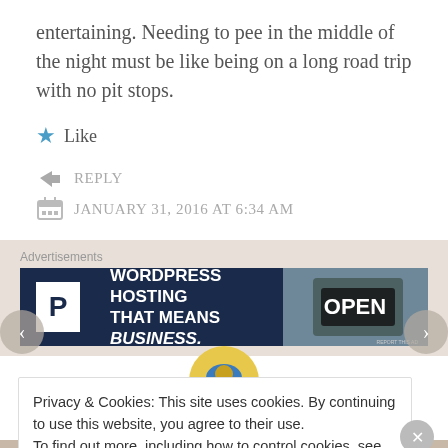entertaining. Needing to pee in the middle of the night must be like being on a long road trip with no pit stops.
★ Like
↪ REPLY
JANUARY 31, 2016 AT 6:34 AM
[Figure (infographic): Advertisement banner: WordPress Hosting That Means Business. with parking P logo and OPEN sign photo]
[Figure (photo): Circular avatar image partially visible]
Privacy & Cookies: This site uses cookies. By continuing to use this website, you agree to their use.
To find out more, including how to control cookies, see here: Cookie Policy
Close and accept